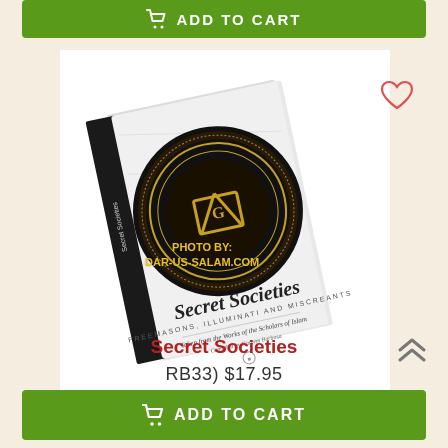[Figure (other): Green 'Add to Cart' button at the top with shopping cart icon]
[Figure (photo): Book cover of 'Secret Societies: Freemasons, Illuminati and Miscreants - Taken from the Works of the Scholars of Islam, Compiled by Kareem Barbosa'. The book has a dark circular Masonic emblem on a white/marble cover.]
Secret Societies
RB33) $17.95
[Figure (other): Green 'Add to Cart' button at the bottom with shopping cart icon]